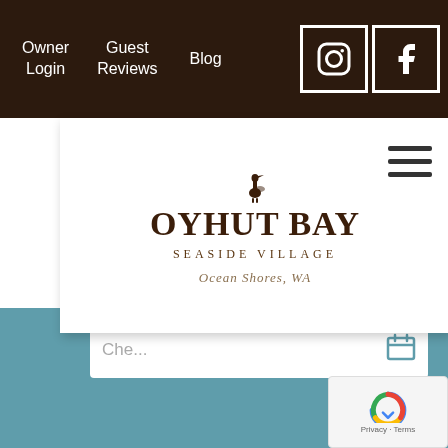Owner Login | Guest Reviews | Blog
[Figure (logo): Oyhut Bay Seaside Village logo with heron bird, text 'OYHUT BAY', 'SEASIDE VILLAGE', 'Ocean Shores, WA']
Che...
Adults:
Adults
Children:
Children
Promo Code:
Promo Code